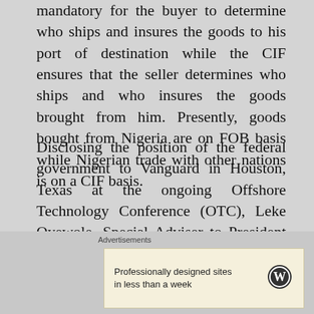mandatory for the buyer to determine who ships and insures the goods to his port of destination while the CIF ensures that the seller determines who ships and who insures the goods brought from him. Presently, goods bought from Nigeria are on FOB basis while Nigerian trade with other nations is on a CIF basis.
Disclosing the position of the federal government to Vanguard in Houston, Texas at the ongoing Offshore Technology Conference (OTC), Leke Oyewole, Special Adviser to President Goodluck Jonathan, said work has been completed on the document for a change in policy so as to help indigenous operators. (?)
The Economic Management Team (EMT) is to take …
Advertisements
Professionally designed sites in less than a week